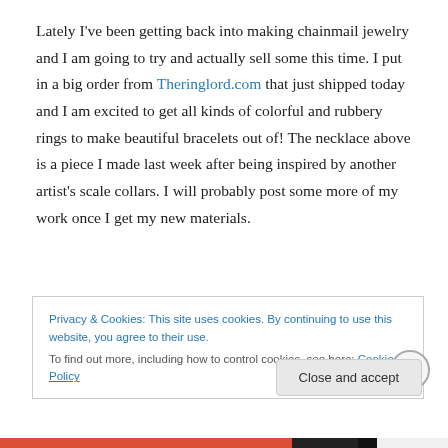Lately I've been getting back into making chainmail jewelry and I am going to try and actually sell some this time. I put in a big order from Theringlord.com that just shipped today and I am excited to get all kinds of colorful and rubbery rings to make beautiful bracelets out of! The necklace above is a piece I made last week after being inspired by another artist's scale collars. I will probably post some more of my work once I get my new materials.
Privacy & Cookies: This site uses cookies. By continuing to use this website, you agree to their use.
To find out more, including how to control cookies, see here: Cookie Policy